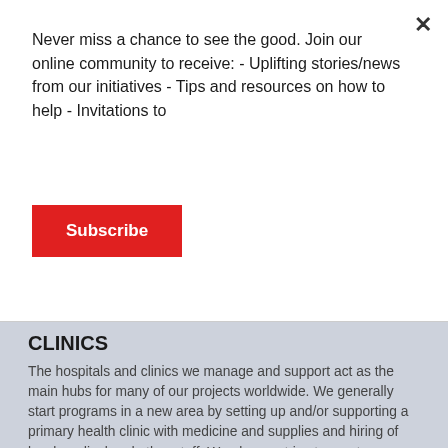Never miss a chance to see the good. Join our online community to receive: - Uplifting stories/news from our initiatives - Tips and resources on how to help - Invitations to
Subscribe
CLINICS
The hospitals and clinics we manage and support act as the main hubs for many of our projects worldwide. We generally start programs in a new area by setting up and/or supporting a primary health clinic with medicine and supplies and hiring of local medical and other staff. We always strive to create welcoming, hygienic, well stocked, well locally staffed health centers by using existing under-utilized buildings and infrastructure.
Once we understand the main medical needs of the local population by close management of these clinics and hospitals, we bring in other health programs to supplement or expand, and look into other areas where the community needs support. Our health centers are